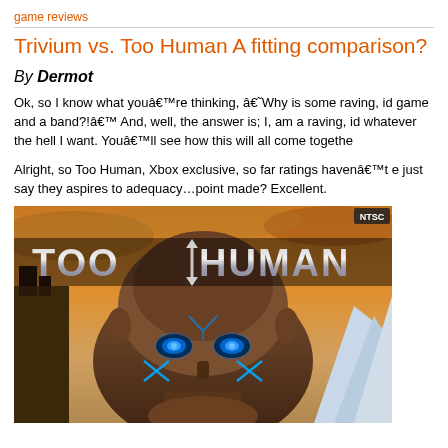game reviews
Trivium vs. Too Human A fitting comparison?
By Dermot
Ok, so I know what youâre thinking, âWhy is some raving, id game and a band?!â And, well, the answer is; I, am a raving, id whatever the hell I want. Youâll see how this will all come together
Alright, so Too Human, Xbox exclusive, so far ratings havenât e just say they aspires to adequacy…point made? Excellent.
[Figure (photo): Box art for the Xbox game 'Too Human' showing a bald cybernetic warrior with glowing blue eyes and neon circuit markings on his face, with the game title 'TOO HUMAN' in large metallic letters across the top, NTSC rating badge in top right corner]